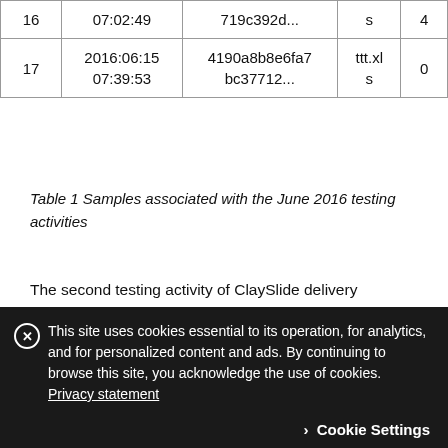|  | Timestamp | Hash | Type |  |
| --- | --- | --- | --- | --- |
| 16 | 07:02:49 | 719c392d... | s | 4 |
| 17 | 2016:06:15 07:39:53 | 4190a8b8e6fa7 bc37712... | ttt.xls | 0 |
Table 1 Samples associated with the June 2016 testing activities
The second testing activity of ClaySlide delivery documents began with the actor creating a base sample on November 14, 2016, followed by six subsequent test files created within a 30-minute window on the following day. Table 2 shows the pertinent information related to the ClaySlide testing activity that occurred in November 2016. Again, there was an obvious difference in filenames at the
This site uses cookies essential to its operation, for analytics, and for personalized content and ads. By continuing to browse this site, you acknowledge the use of cookies. Privacy statement